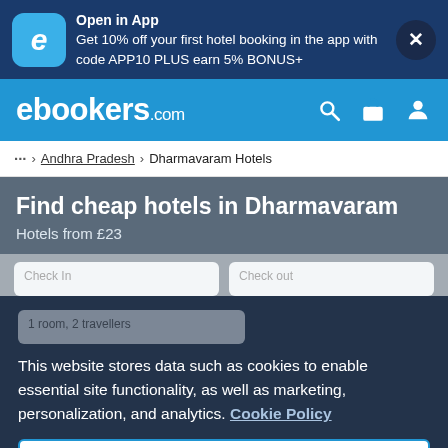[Figure (screenshot): App promotion banner with blue background, ebookers app icon, and close button]
Open in App
Get 10% off your first hotel booking in the app with code APP10 PLUS earn 5% BONUS+
[Figure (logo): ebookers.com logo in white on blue navigation bar with search, bag, and account icons]
… > Andhra Pradesh > Dharmavaram Hotels
Find cheap hotels in Dharmavaram
Hotels from £23
This website stores data such as cookies to enable essential site functionality, as well as marketing, personalization, and analytics. Cookie Policy
Accept
Deny